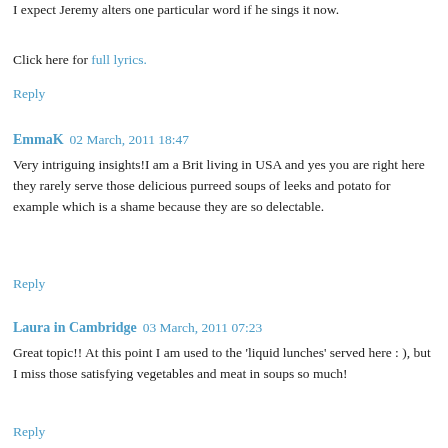I expect Jeremy alters one particular word if he sings it now.
Click here for full lyrics.
Reply
EmmaK  02 March, 2011 18:47
Very intriguing insights!I am a Brit living in USA and yes you are right here they rarely serve those delicious purreed soups of leeks and potato for example which is a shame because they are so delectable.
Reply
Laura in Cambridge  03 March, 2011 07:23
Great topic!! At this point I am used to the 'liquid lunches' served here : ), but I miss those satisfying vegetables and meat in soups so much!
Reply